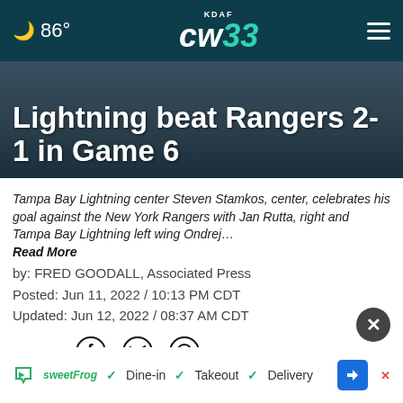🌙 86° | KDAF CW33
Lightning beat Rangers 2-1 in Game 6
Tampa Bay Lightning center Steven Stamkos, center, celebrates his goal against the New York Rangers with Jan Rutta, right and Tampa Bay Lightning left wing Ondrej… Read More
by: FRED GOODALL, Associated Press
Posted: Jun 11, 2022 / 10:13 PM CDT
Updated: Jun 12, 2022 / 08:37 AM CDT
SHARE
TAMPA — ... aid for a three-peat is alive and well